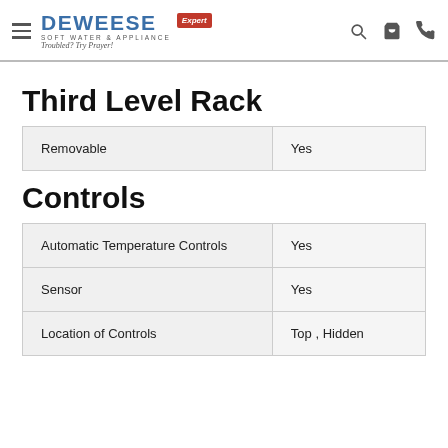Deweese Soft Water & Appliance — navigation header
Third Level Rack
|  |  |
| --- | --- |
| Removable | Yes |
Controls
|  |  |
| --- | --- |
| Automatic Temperature Controls | Yes |
| Sensor | Yes |
| Location of Controls | Top , Hidden |